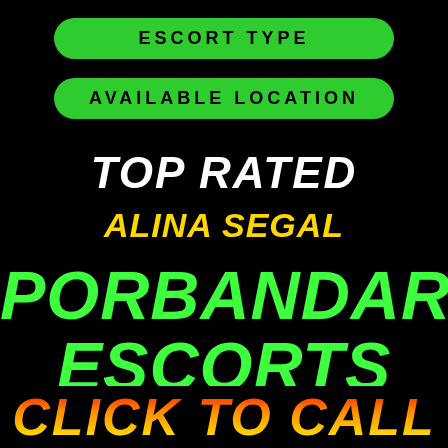ESCORT TYPE
AVAILABLE LOCATION
TOP RATED
ALINA SEGAL
PORBANDAR ESCORTS
Our Porbandar Escort Agency is ever ready to
CLICK TO CALL